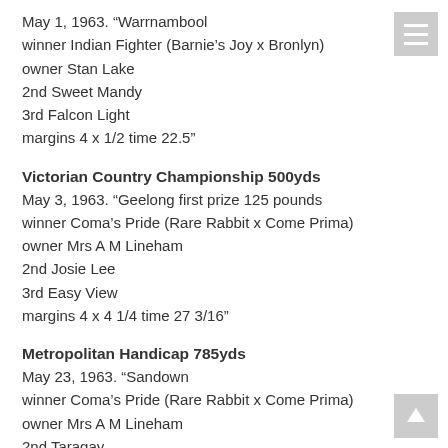May 1, 1963. “Warrnambool winner Indian Fighter (Barnie’s Joy x Bronlyn) owner Stan Lake 2nd Sweet Mandy 3rd Falcon Light margins 4 x 1/2 time 22.5”
Victorian Country Championship 500yds
May 3, 1963. “Geelong first prize 125 pounds winner Coma’s Pride (Rare Rabbit x Come Prima) owner Mrs A M Lineham 2nd Josie Lee 3rd Easy View margins 4 x 4 1/4 time 27 3/16”
Metropolitan Handicap 785yds
May 23, 1963. “Sandown winner Coma’s Pride (Rare Rabbit x Come Prima) owner Mrs A M Lineham 2nd Taragay 3rd Lady Cortee